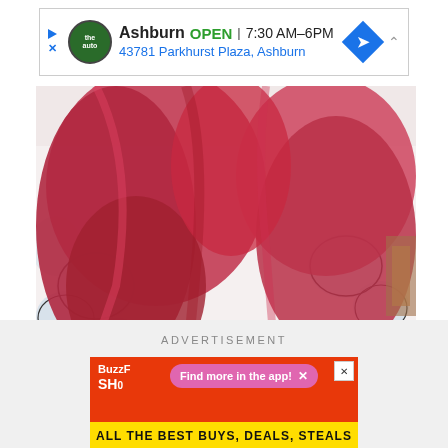[Figure (screenshot): Top advertisement banner for Ashburn auto business showing logo, OPEN status, hours 7:30AM-6PM, and address 43781 Parkhurst Plaza, Ashburn with navigation icon]
[Figure (photo): Photo of a person with pink/red dyed hair wearing a white floral dress with blue flower pattern]
@daisylovesick
[Figure (screenshot): Social share buttons: Facebook (blue circle with f) and Pinterest (red circle with P)]
ADVERTISEMENT
[Figure (screenshot): BuzzFeed Shopping advertisement with pink pill 'Find more in the app!' button and yellow banner reading 'ALL THE BEST BUYS, DEALS, STEALS']